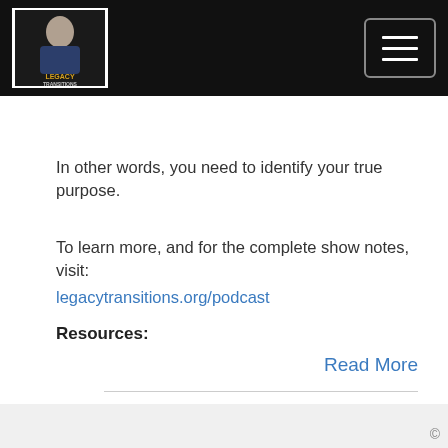Legacy Transitions logo and navigation menu
In other words, you need to identify your true purpose.
To learn more, and for the complete show notes, visit:
legacytransitions.org/podcast
Resources:
Read More
©